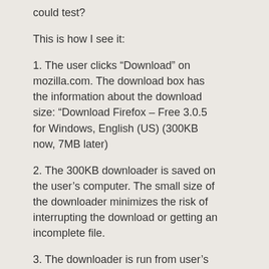could test?
This is how I see it:
1. The user clicks “Download” on mozilla.com. The download box has the information about the download size: “Download Firefox – Free 3.0.5 for Windows, English (US) (300KB now, 7MB later)
2. The 300KB downloader is saved on the user’s computer. The small size of the downloader minimizes the risk of interrupting the download or getting an incomplete file.
3. The downloader is run from user’s computer (either automatically after the download finishes, or manually by the user —